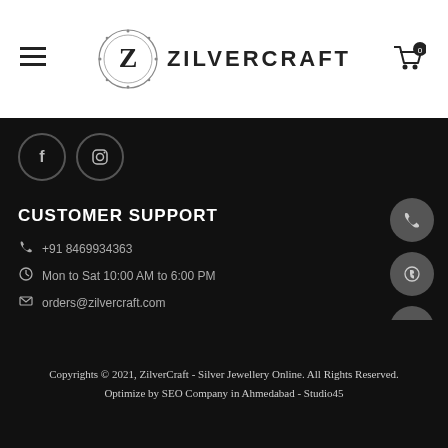[Figure (logo): ZilverCraft logo with ornate Z badge and text ZILVERCRAFT]
[Figure (infographic): Social media icons: Facebook and Instagram circles]
CUSTOMER SUPPORT
+91 8469934363
Mon to Sat 10:00 AM to 6:00 PM
orders@zilvercraft.com
Copyrights © 2021, ZilverCraft - Silver Jewellery Online. All Rights Reserved. Optimize by SEO Company in Ahmedabad - Studio45